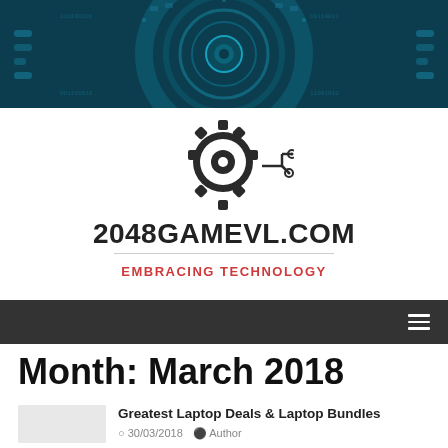[Figure (illustration): Dark teal technology banner with circular HUD/circuit board design, binary code patterns]
[Figure (logo): Gear/cog wheel with circuit board traces logo for 2048GAMEVL.COM]
2048GAMEVL.COM
EMBRACING TECHNOLOGY
Navigation bar with hamburger menu
Month: March 2018
Greatest Laptop Deals & Laptop Bundles
30/03/2018  Author